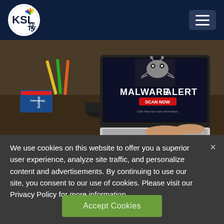KSL TV 5
[Figure (photo): Laptop displaying a MALWARE ALERT warning screen with a cartoon bug/monster graphic, red SCAN NOW button, and text 'Click here for more information', with a person's hands on the keyboard and school supplies in the background]
We use cookies on this website to offer you a superior user experience, analyze site traffic, and personalize content and advertisements. By continuing to use our site, you consent to our use of cookies. Please visit our Privacy Policy for more information.
Accept Cookies